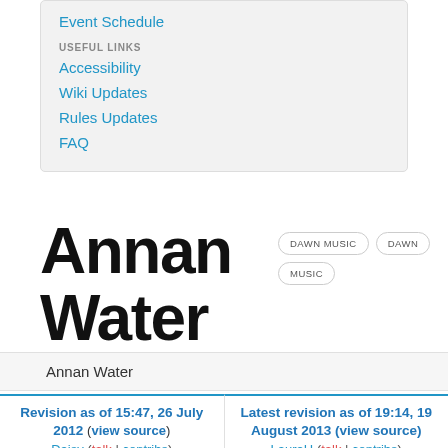Event Schedule
USEFUL LINKS
Accessibility
Wiki Updates
Rules Updates
FAQ
Annan Water
DAWN MUSIC  DAWN  MUSIC
Annan Water
Revision as of 15:47, 26 July 2012 (view source)
Daisy (talk | contribs)
← Older edit
Latest revision as of 19:14, 19 August 2013 (view source)
LauraH (talk | contribs)